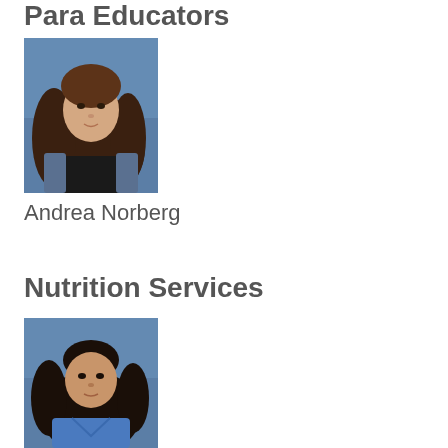Para Educators
[Figure (photo): Portrait photo of Andrea Norberg, a young woman with long curly brown hair wearing a black top and denim jacket, against a blue background.]
Andrea Norberg
Nutrition Services
[Figure (photo): Portrait photo of a woman with dark curly hair wearing a blue top, against a blue background.]